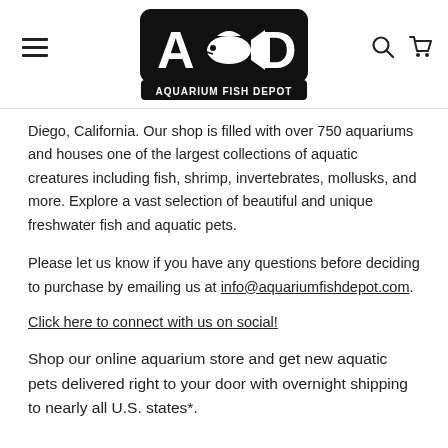Aquarium Fish Depot logo, hamburger menu, search and cart icons
Diego, California. Our shop is filled with over 750 aquariums and houses one of the largest collections of aquatic creatures including fish, shrimp, invertebrates, mollusks, and more. Explore a vast selection of beautiful and unique freshwater fish and aquatic pets.
Please let us know if you have any questions before deciding to purchase by emailing us at info@aquariumfishdepot.com.
Click here to connect with us on social!
Shop our online aquarium store and get new aquatic pets delivered right to your door with overnight shipping to nearly all U.S. states*.